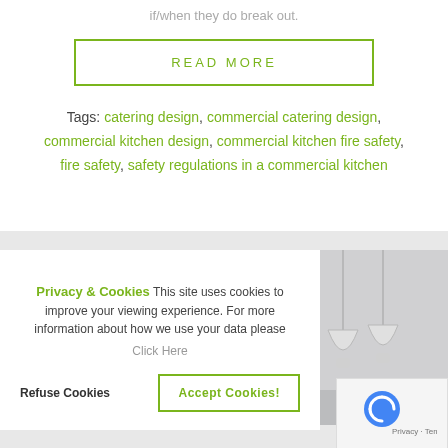if/when they do break out.
READ MORE
Tags: catering design, commercial catering design, commercial kitchen design, commercial kitchen fire safety, fire safety, safety regulations in a commercial kitchen
Privacy & Cookies This site uses cookies to improve your viewing experience. For more information about how we use your data please Click Here
Refuse Cookies
Accept Cookies!
[Figure (photo): Photo of glass pendant lights hanging in a kitchen interior]
[Figure (logo): reCAPTCHA logo with Privacy and Terms links]